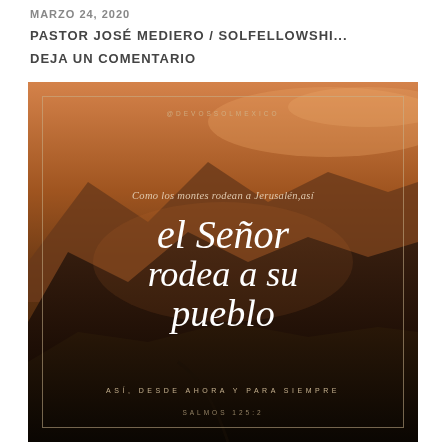MARZO 24, 2020
PASTOR JOSÉ MEDIERO / SOLFELLOWSHI...
DEJA UN COMENTARIO
[Figure (photo): Mountain landscape at dusk with warm orange tones. Overlaid with text: '@DEVOSSOLMEXICO', 'Como los montes rodean a Jerusalén, así', 'el Señor rodea a su pueblo', 'ASÍ, DESDE AHORA Y PARA SIEMPRE', 'SALMOS 125:2'. Decorative inner border frame.]